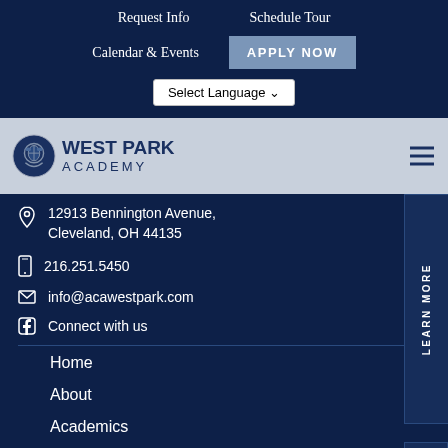Request Info | Schedule Tour
Calendar & Events | APPLY NOW | Select Language
WEST PARK ACADEMY
12913 Bennington Avenue, Cleveland, OH 44135
216.251.5450
info@acawestpark.com
Connect with us
Home
About
Academics
Activities
School Board